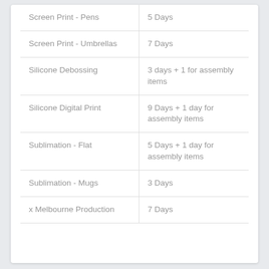| Screen Print - Pens | 5 Days |
| Screen Print - Umbrellas | 7 Days |
| Silicone Debossing | 3 days + 1 for assembly items |
| Silicone Digital Print | 9 Days + 1 day for assembly items |
| Sublimation - Flat | 5 Days + 1 day for assembly items |
| Sublimation - Mugs | 3 Days |
| x Melbourne Production | 7 Days |